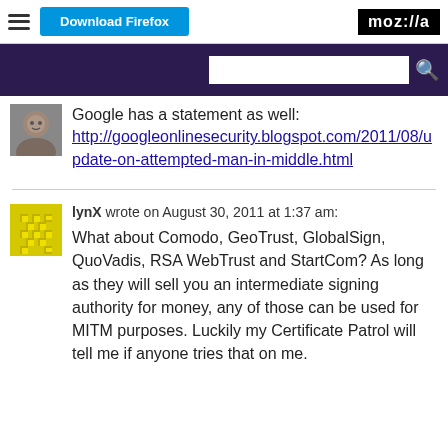[Figure (screenshot): Firefox browser toolbar with hamburger menu, Download Firefox button, and moz://a logo]
[Figure (screenshot): Purple Mozilla navigation bar with search input and search icon]
Google has a statement as well: http://googleonlinesecurity.blogspot.com/2011/08/update-on-attempted-man-in-middle.html
lynX wrote on August 30, 2011 at 1:37 am: What about Comodo, GeoTrust, GlobalSign, QuoVadis, RSA WebTrust and StartCom? As long as they will sell you an intermediate signing authority for money, any of those can be used for MITM purposes. Luckily my Certificate Patrol will tell me if anyone tries that on me.